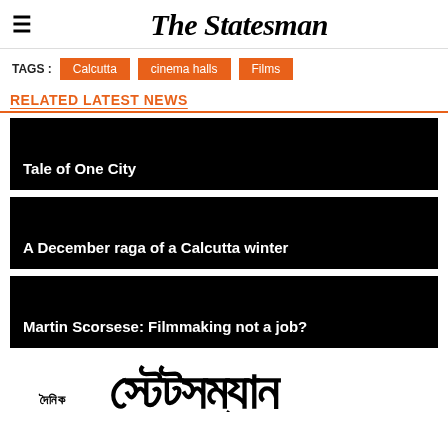The Statesman
TAGS : Calcutta  cinema halls  Films
RELATED LATEST NEWS
Tale of One City
A December raga of a Calcutta winter
Martin Scorsese: Filmmaking not a job?
[Figure (logo): Bengali script logo of The Statesman newspaper]